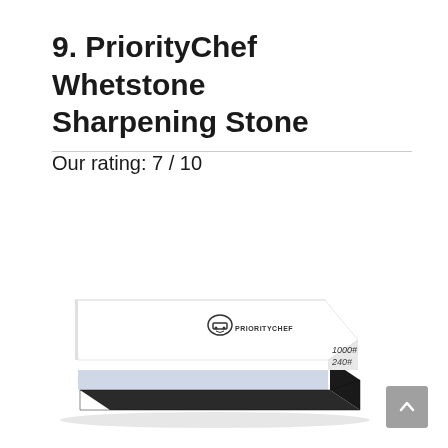9. PriorityChef Whetstone Sharpening Stone
Our rating: 7 / 10
[Figure (photo): PriorityChef Whetstone Sharpening Stone product photo. A white rectangular sharpening stone with a black rubber base. The stone has the PriorityChef logo (chef with hat) on top, and the side shows '1000#' and '240#' grit markings.]